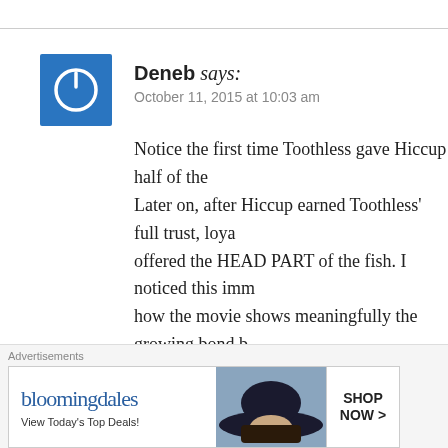[Figure (logo): Blue square avatar icon with white power button symbol]
Deneb says:
October 11, 2015 at 10:03 am
Notice the first time Toothless gave Hiccup half of the fish. Later on, after Hiccup earned Toothless' full trust, loyalty, he was offered the HEAD PART of the fish. I noticed this immediately and how the movie shows meaningfully the growing bond b…
Why? Now, I forgot which article/myth(?)/book/movie... that a beast(?) gave you half of the tail means the beast thinks of you as... head (which was deemed to be more nutritious) means ... (or something like that)
It's not the same as half of that...
[Figure (screenshot): Bloomingdale's advertisement banner: View Today's Top Deals! SHOP NOW >]